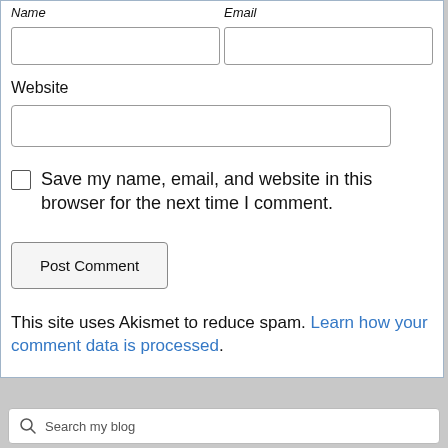Name   Email
Website
Save my name, email, and website in this browser for the next time I comment.
Post Comment
This site uses Akismet to reduce spam. Learn how your comment data is processed.
Search my blog